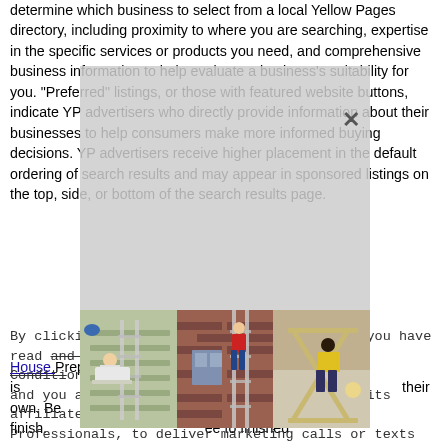determine which business to select from a local Yellow Pages directory, including proximity to where you are searching, expertise in the specific services or products you need, and comprehensive business information to help evaluate a business's suitability for you. "Preferred" listings, or those with featured website buttons, indicate YP advertisers who directly provide information about their businesses to help consumers make more informed buying decisions. YP advertisers receive higher placement in the default ordering of search results and may appear in sponsored listings on the top, side, or bottom of the search results page.
House [link] ... foot. This is ... the DIYer ... their own. Be ... the finish. It ... ee to finished...
[Figure (photo): Three photos side by side showing people on ladders on exterior of houses, and one indoor scene with an X-shaped structure.]
By clicking Confirm Appointment, you affirm you have read and agree to the HomeAdvisor Terms & Conditions, and you agree and authorize HomeAdvisor and its affiliates, and their networks of Service Professionals, to deliver marketing calls or texts